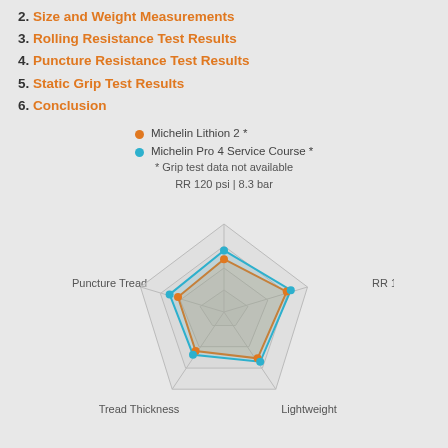2. Size and Weight Measurements
3. Rolling Resistance Test Results
4. Puncture Resistance Test Results
5. Static Grip Test Results
6. Conclusion
• Michelin Lithion 2 *
• Michelin Pro 4 Service Course *
* Grip test data not available
[Figure (radar-chart): Radar chart comparing Michelin Lithion 2 and Michelin Pro 4 Service Course across 5 axes: RR 120 psi | 8.3 bar (top), RR 100 psi | 7 bar (upper right), Lightweight (lower right), Tread Thickness (lower left), Puncture Tread (upper left).]